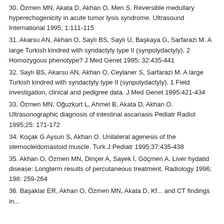30. Özmen MN, Akata D, Akhan O, Men S. Reversible medullary hyperechogenicity in acute tumor lysis syndrome. Ultrasound International 1995; 1:111-115
31. Akarsu AN, Akhan O, Saylı BS, Saylı U, Başkaya G, Sarfarazi M. A large Turkish kindred with syndactyly type II (synpolydactyly). 2 Homozygous phenotype? J Med Genet 1995; 32:435-441
32. Saylı BS, Akarsu AN, Akhan O, Ceylaner S, Sarfarazi M. A large Turkish kindred with syndactyly type II (synpolydactyly). 1 Field investigation, clinical and pedigree data. J Med Genet 1995:421-434
33. Özmen MN, Oğuzkurt L, Ahmet B, Akata D, Akhan O. Ultrasonographic diagnosis of intestinal ascariasis Pediatr Radiol 1995;25: 171-172
34. Koçak G Aysun S, Akhan O. Unilateral agenesis of the sternocleidomastoid muscle. Turk J Pediatr 1995;37:435-438
35. Akhan O, Özmen MN, Dinçer A, Sayek İ, Göçmen A. Liver hydatid disease: Longterm results of percutaneous treatment. Radiology 1996; 198: 259-264
36. Başaklar ER, Akhan O, Özmen MN, Akata D, Kf... and CT findings in...